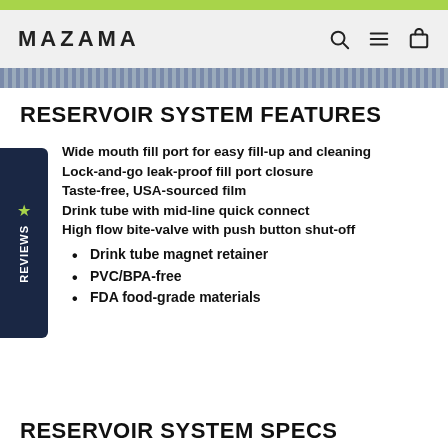MAZAMA
RESERVOIR SYSTEM FEATURES
Wide mouth fill port for easy fill-up and cleaning
Lock-and-go leak-proof fill port closure
Taste-free, USA-sourced film
Drink tube with mid-line quick connect
High flow bite-valve with push button shut-off
Drink tube magnet retainer
PVC/BPA-free
FDA food-grade materials
RESERVOIR SYSTEM SPECS